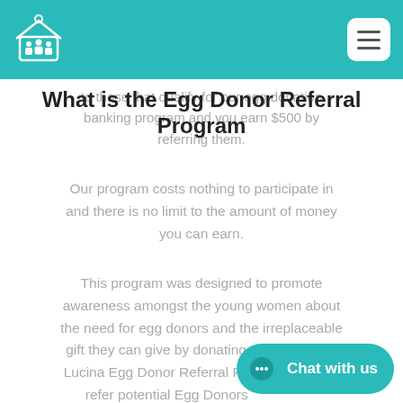Lucina Family Center header with logo and menu button
What is the Egg Donor Referral Program
to those that qualify for our egg donation banking program and you earn $500 by referring them.
Our program costs nothing to participate in and there is no limit to the amount of money you can earn.
This program was designed to promote awareness amongst the young women about the need for egg donors and the irreplaceable gift they can give by donating. As part of our Lucina Egg Donor Referral Program, you will refer potential Egg Donors are selected, they can donate their eggs with no wait time. These eggs are used by needy